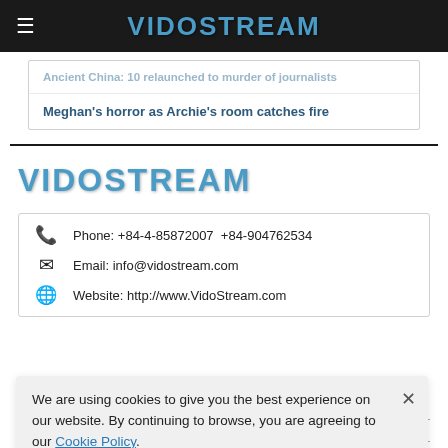VIDOSTREAM
Ancient China: 10 relaunched to murder of journalists
Meghan's horror as Archie's room catches fire
VIDOSTREAM
Phone: +84-4-85872007  +84-904762534
Email: info@vidostream.com
Website: http://www.VidoStream.com
We are using cookies to give you the best experience on our website. By continuing to browse, you are agreeing to our Cookie Policy.